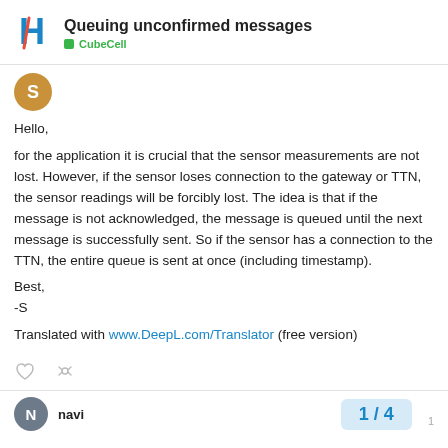Queuing unconfirmed messages | CubeCell
Hello,
for the application it is crucial that the sensor measurements are not lost. However, if the sensor loses connection to the gateway or TTN, the sensor readings will be forcibly lost. The idea is that if the message is not acknowledged, the message is queued until the next message is successfully sent. So if the sensor has a connection to the TTN, the entire queue is sent at once (including timestamp).

Best,
-S

Translated with www.DeepL.com/Translator (free version)
navi | 1 / 4 | 1